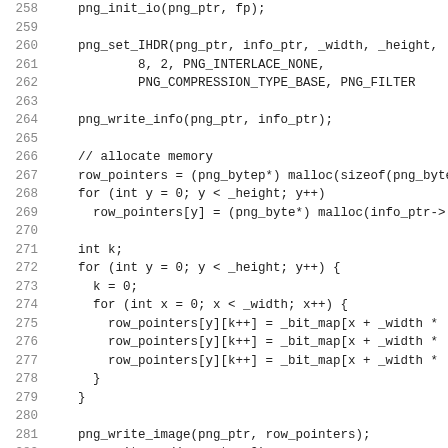Code listing lines 258-287 showing PNG write operations in C++
258    png_init_io(png_ptr, fp);
259    (blank)
260    png_set_IHDR(png_ptr, info_ptr, _width, _height,
261            8, 2, PNG_INTERLACE_NONE,
262            PNG_COMPRESSION_TYPE_BASE, PNG_FILTER
263    (blank)
264    png_write_info(png_ptr, info_ptr);
265    (blank)
266    // allocate memory
267    row_pointers = (png_bytep*) malloc(sizeof(png_byte
268    for (int y = 0; y < _height; y++)
269      row_pointers[y] = (png_byte*) malloc(info_ptr->
270    (blank)
271    int k;
272    for (int y = 0; y < _height; y++) {
273      k = 0;
274      for (int x = 0; x < _width; x++) {
275        row_pointers[y][k++] = _bit_map[x + _width *
276        row_pointers[y][k++] = _bit_map[x + _width *
277        row_pointers[y][k++] = _bit_map[x + _width *
278      }
279    }
280    (blank)
281    png_write_image(png_ptr, row_pointers);
282    png_write_end(png_ptr, 0);
283    (blank)
284    png_destroy_write_struct(&png_ptr, &info_ptr);
285    (blank)
286    // cleanup heap allocation
287    for (int y = 0; y < _height; y++) free(row_pointer